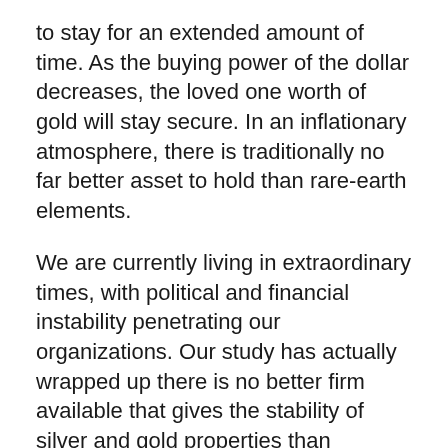to stay for an extended amount of time. As the buying power of the dollar decreases, the loved one worth of gold will stay secure. In an inflationary atmosphere, there is traditionally no far better asset to hold than rare-earth elements.
We are currently living in extraordinary times, with political and financial instability penetrating our organizations. Our study has actually wrapped up there is no better firm available that gives the stability of silver and gold properties than Goldco.
What Makes Gold Valuable?
Gold has actually been made use of as a shop of value for centuries. Over the